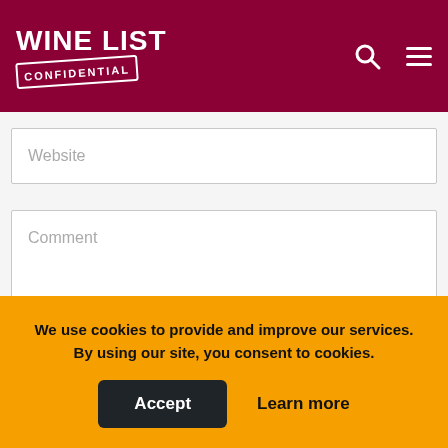WINE LIST CONFIDENTIAL
Website
Comment
We use cookies to provide and improve our services. By using our site, you consent to cookies.
Accept
Learn more